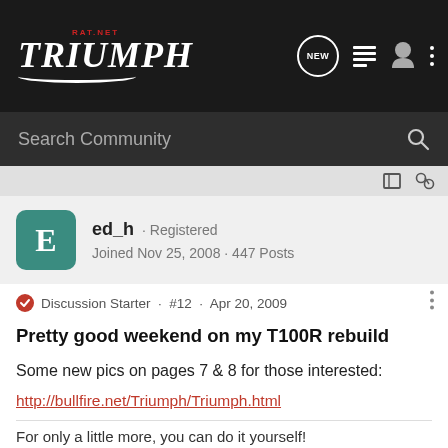TRIUMPH RAT.NET
Search Community
ed_h · Registered
Joined Nov 25, 2008 · 447 Posts
Discussion Starter · #12 · Apr 20, 2009
Pretty good weekend on my T100R rebuild
Some new pics on pages 7 & 8 for those interested:
http://bullfire.net/Triumph/Triumph.html
For only a little more, you can do it yourself!